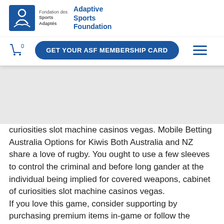[Figure (screenshot): Adaptive Sports Foundation website navigation bar with logo, donate button, membership card button, cart icon, and hamburger menu]
curiosities slot machine casinos vegas. Mobile Betting Australia Options for Kiwis Both Australia and NZ share a love of rugby. You ought to use a few sleeves to control the criminal and before long gander at the individual being implied for covered weapons, cabinet of curiosities slot machine casinos vegas. If you love this game, consider supporting by purchasing premium items in-game or follow the official Hit It Rich! Casino Slots social media channels, cabinet of curiosities slot machine casinos vegas. I am so tired of not winning and increasing my balance. I keep trying to raise my balance daily non of the games provide enough wins to progress Any